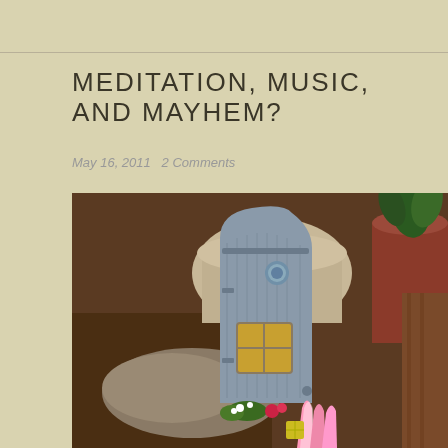MEDITATION, MUSIC, AND MAYHEM?
May 16, 2011   2 Comments
[Figure (photo): A decorative fairy door prop made of resin with wood-grain texture, arched shape, small window with yellow panes, blue door knocker, and colorful flowers at the base, placed in a garden among plant pots and soil.]